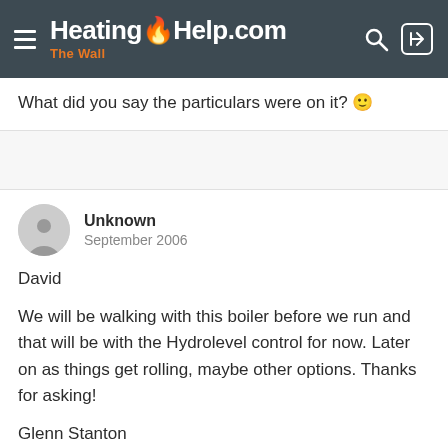HeatingHelp.com The Wall
What did you say the particulars were on it? 🙂
Unknown
September 2006
David

We will be walking with this boiler before we run and that will be with the Hydrolevel control for now. Later on as things get rolling, maybe other options. Thanks for asking!

Glenn Stanton